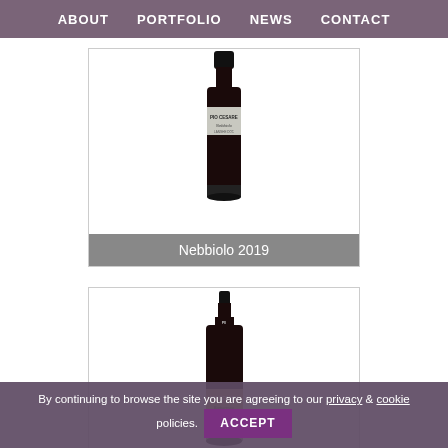ABOUT  PORTFOLIO  NEWS  CONTACT
[Figure (photo): Wine bottle with 'Pio Cesare' label for Nebbiolo 2019, shown in a product card with a gray label banner at the bottom reading 'Nebbiolo 2019']
[Figure (photo): Wine bottle with 'Pio Cesare Barbaresco' label, shown in a product card, partially visible]
By continuing to browse the site you are agreeing to our privacy & cookie policies. ACCEPT